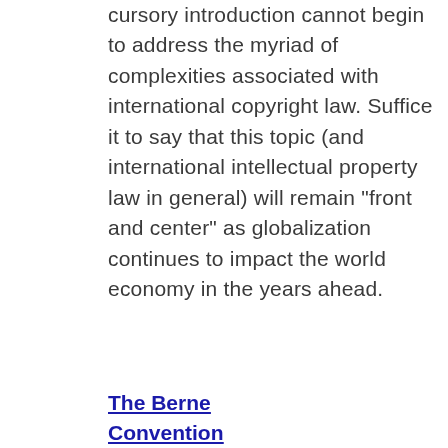cursory introduction cannot begin to address the myriad of complexities associated with international copyright law. Suffice it to say that this topic (and international intellectual property law in general) will remain "front and center" as globalization continues to impact the world economy in the years ahead.
The Berne Convention